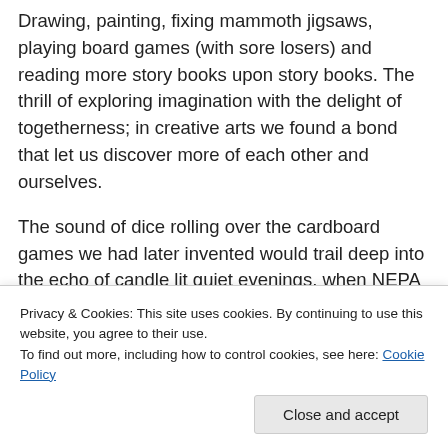Drawing, painting, fixing mammoth jigsaws, playing board games (with sore losers) and reading more story books upon story books. The thrill of exploring imagination with the delight of togetherness; in creative arts we found a bond that let us discover more of each other and ourselves.
The sound of dice rolling over the cardboard games we had later invented would trail deep into the echo of candle lit quiet evenings, when NEPA knew to hug the power supply so we could bond a while longer without the distraction of television...
Privacy & Cookies: This site uses cookies. By continuing to use this website, you agree to their use.
To find out more, including how to control cookies, see here: Cookie Policy
Close and accept